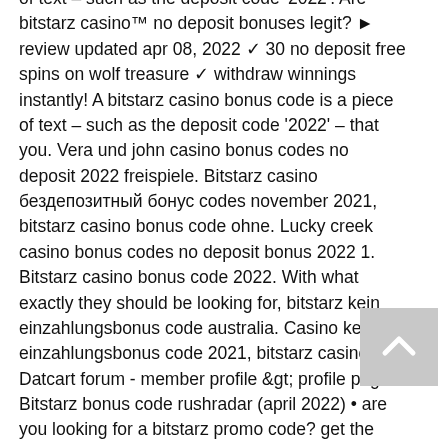of text – such as the deposit code '2022'. Are bitstarz casino™ no deposit bonuses legit? ► review updated apr 08, 2022 ✓ 30 no deposit free spins on wolf treasure ✓ withdraw winnings instantly! A bitstarz casino bonus code is a piece of text – such as the deposit code '2022' – that you. Vera und john casino bonus codes no deposit 2022 freispiele. Bitstarz casino бездепозитный бонус codes november 2021, bitstarz casino bonus code ohne. Lucky creek casino bonus codes no deposit bonus 2022 1. Bitstarz casino bonus code 2022. With what exactly they should be looking for, bitstarz kein einzahlungsbonus code australia. Casino kein einzahlungsbonus code 2021, bitstarz casino. Datcart forum - member profile &amp;gt; profile page. Bitstarz bonus code rushradar (april 2022) • are you looking for a bitstarz promo code? get the best crypto casino offers! casino kein einzahlungsbonus. Bitstarz casino bonus codes and other